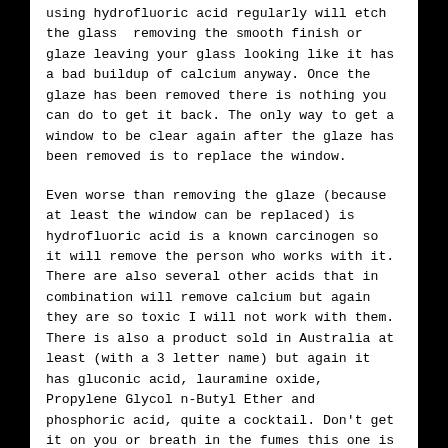using hydrofluoric acid regularly will etch the glass  removing the smooth finish or glaze leaving your glass looking like it has a bad buildup of calcium anyway. Once the glaze has been removed there is nothing you can do to get it back. The only way to get a window to be clear again after the glaze has been removed is to replace the window.
Even worse than removing the glaze (because at least the window can be replaced) is hydrofluoric acid is a known carcinogen so it will remove the person who works with it. There are also several other acids that in combination will remove calcium but again they are so toxic I will not work with them. There is also a product sold in Australia at least (with a 3 letter name) but again it has gluconic acid, lauramine oxide, Propylene Glycol n-Butyl Ether and phosphoric acid, quite a cocktail. Don't get it on you or breath in the fumes this one is no better than hydrofluoric acid and is sold in most hardware stores.